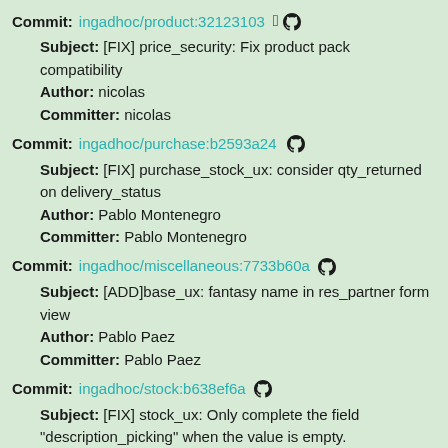Commit: ingadhoc/product:32123103 [github icon]
Subject: [FIX] price_security: Fix product pack compatibility
Author: nicolas
Committer: nicolas
Commit: ingadhoc/purchase:b2593a24 [github icon]
Subject: [FIX] purchase_stock_ux: consider qty_returned on delivery_status
Author: Pablo Montenegro
Committer: Pablo Montenegro
Commit: ingadhoc/miscellaneous:7733b60a [github icon]
Subject: [ADD]base_ux: fantasy name in res_partner form view
Author: Pablo Paez
Committer: Pablo Paez
Commit: ingadhoc/stock:b638ef6a [github icon]
Subject: [FIX] stock_ux: Only complete the field "description_picking" when the value is empty.
Author: nicolas
Committer: nicolas
Commit: ingadhoc/multi-store:309c850e [github icon]